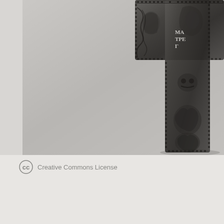[Figure (photo): Black and white photograph of an ornate metal cross (partially cropped), showing detailed relief carvings including figures, decorative patterns, and Cyrillic letters. The cross has a beaded/dotted border and is photographed against a light grey background.]
Creative Commons License